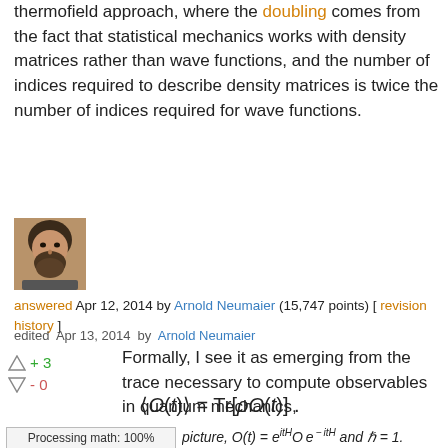thermofield approach, where the doubling comes from the fact that statistical mechanics works with density matrices rather than wave functions, and the number of indices required to describe density matrices is twice the number of indices required for wave functions.
[Figure (photo): Avatar photo of Arnold Neumaier, a man with dark beard]
answered Apr 12, 2014 by Arnold Neumaier (15,747 points) [ revision history ]
edited Apr 13, 2014 by Arnold Neumaier
Formally, I see it as emerging from the trace necessary to compute observables in quantum mechanics,
Processing math: 100%  picture, O(t) = e^{itH} O e^{-itH} and ℏ = 1.